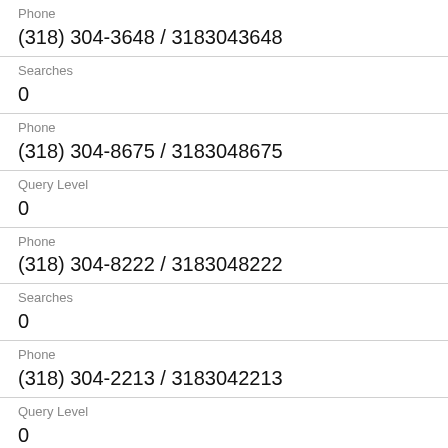Phone
(318) 304-3648 / 3183043648
Searches
0
Phone
(318) 304-8675 / 3183048675
Query Level
0
Phone
(318) 304-8222 / 3183048222
Searches
0
Phone
(318) 304-2213 / 3183042213
Query Level
0
Phone
(318) 304-4257 / 3183044257
Searches